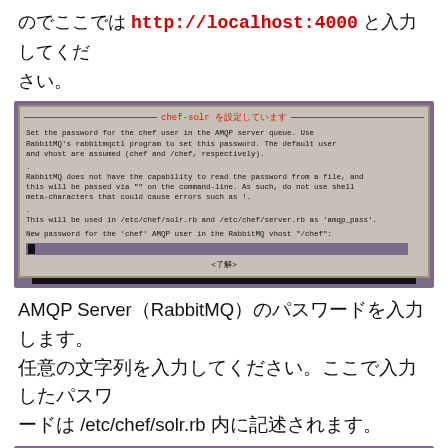のでここでは http://localhost:4000 と入力してください。
[Figure (screenshot): Terminal dialog for chef-solr configuration showing AMQP password setup with input field and OK button]
AMQP Server（RabbitMQ）のパスワードを入力します。任意の文字列を入力してください。ここで入力したパスワードは /etc/chef/solr.rb 内に記述されます。
[Figure (screenshot): Terminal dialog for chef-server-webui configuration showing temporary first-use password setup]